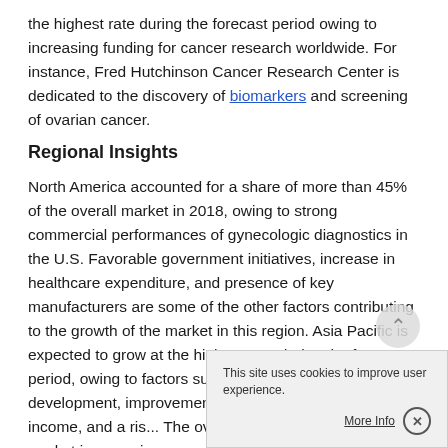the highest rate during the forecast period owing to increasing funding for cancer research worldwide. For instance, Fred Hutchinson Cancer Research Center is dedicated to the discovery of biomarkers and screening of ovarian cancer.
Regional Insights
North America accounted for a share of more than 45% of the overall market in 2018, owing to strong commercial performances of gynecologic diagnostics in the U.S. Favorable government initiatives, increase in healthcare expenditure, and presence of key manufacturers are some of the other factors contributing to the growth of the market in this region. Asia Pacific is expected to grow at the highest rate during the forecast period, owing to factors such as overall economic development, improvement in healthcare i... disposable income, and a ri... The ovarian cancer diagnostics market in emerging